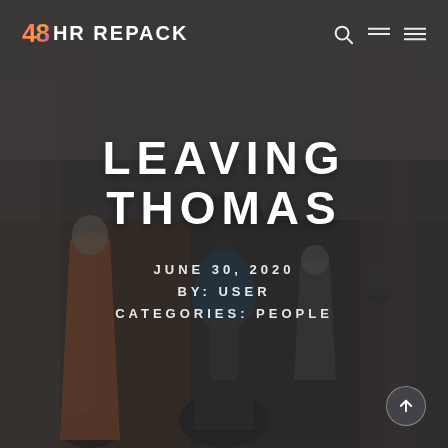[Figure (photo): People walking away on a road lined with trees in a misty, muted urban setting. A woman in a blue hijab and backpack is prominent in the center foreground.]
48 HR REPACK
LEAVING THOMAS
JUNE 30, 2020
BY: USER
CATEGORIES: PEOPLE